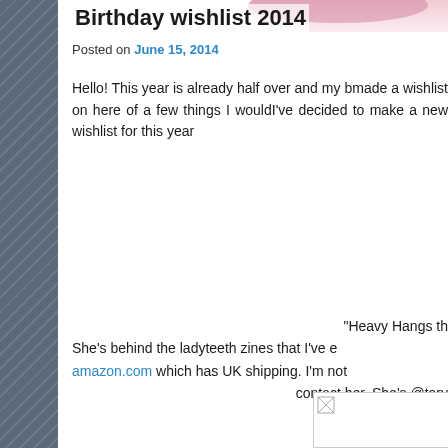Birthday wishlist 2014
Posted on June 15, 2014
Hello! This year is already half over and my b... made a wishlist on here of a few things I would... I've decided to make a new wishlist for this year...
“Heavy Hangs th... She’s behind the ladyteeth zines that I’ve e... amazon.com which has UK shipping. I’m not contact her. She’s @tary...
[Figure (photo): Small broken image placeholder icon in a white box with border]